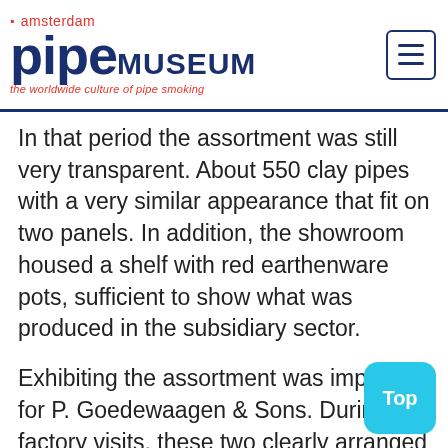amsterdam pipe MUSEUM — the worldwide culture of pipe smoking
In that period the assortment was still very transparent. About 550 clay pipes with a very similar appearance that fit on two panels. In addition, the showroom housed a shelf with red earthenware pots, sufficient to show what was produced in the subsidiary sector.
Exhibiting the assortment was important for P. Goedewaagen & Sons. During factory visits, these two clearly arranged